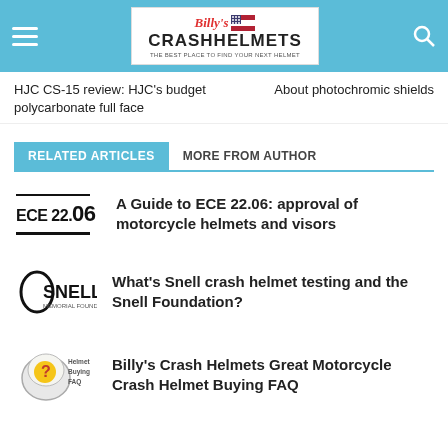Billy's Crash Helmets
HJC CS-15 review: HJC's budget polycarbonate full face
About photochromic shields
RELATED ARTICLES   MORE FROM AUTHOR
A Guide to ECE 22.06: approval of motorcycle helmets and visors
What's Snell crash helmet testing and the Snell Foundation?
Billy's Crash Helmets Great Motorcycle Crash Helmet Buying FAQ